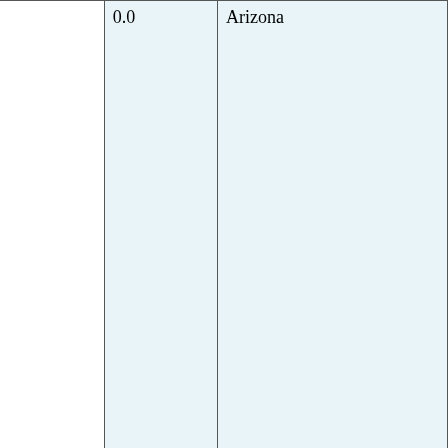| (map/directions area) | Miles | Location |
| --- | --- | --- |
|  | 0.0 | Arizona |
|  | 4.4
7.1 | Cholla Canyon Ranch Road |
|  | 9.1
14.7 | Signal Road |